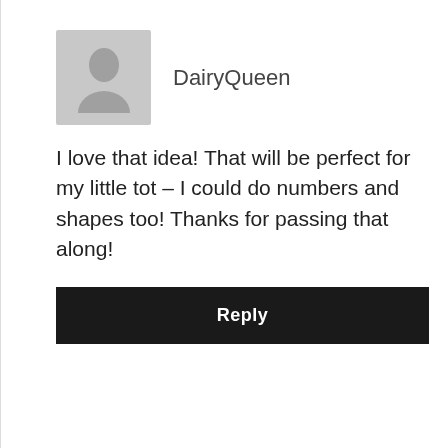[Figure (illustration): User avatar placeholder icon — gray square with a generic person silhouette]
DairyQueen
I love that idea! That will be perfect for my little tot – I could do numbers and shapes too! Thanks for passing that along!
Reply